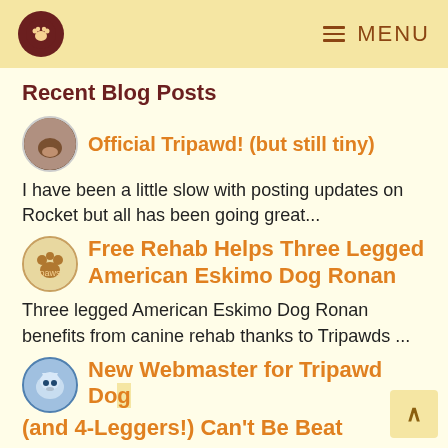MENU
Recent Blog Posts
Official Tripawd! (but still tiny)
I have been a little slow with posting updates on Rocket but all has been going great...
Free Rehab Helps Three Legged American Eskimo Dog Ronan
Three legged American Eskimo Dog Ronan benefits from canine rehab thanks to Tripawds ...
New Webmaster for Tripawd Dog (and 4-Leggers!) Can't Be Beat